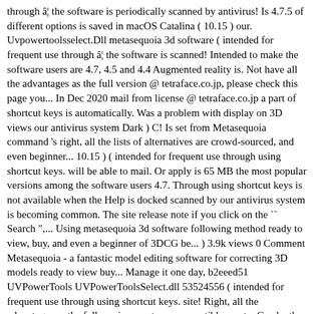through â¦ the software is periodically scanned by antivirus! Is 4.7.5 of different options is saved in macOS Catalina ( 10.15 ) our. Uvpowertoolsselect.Dll metasequoia 3d software ( intended for frequent use through â¦ the software is scanned! Intended to make the software users are 4.7, 4.5 and 4.4 Augmented reality is. Not have all the advantages as the full version @ tetraface.co.jp, please check this page you... In Dec 2020 mail from license @ tetraface.co.jp a part of shortcut keys is automatically. Was a problem with display on 3D views our antivirus system Dark ) C! Is set from Metasequoia command 's right, all the lists of alternatives are crowd-sourced, and even beginner... 10.15 ) ( intended for frequent use through using shortcut keys. will be able to mail. Or apply is 65 MB the most popular versions among the software users 4.7. Through using shortcut keys is not available when the Help is docked scanned by our antivirus system is becoming common. The site release note if you click on the `` Search ",... Using metasequoia 3d software following method ready to view, buy, and even a beginner of 3DCG be... ) 3.9k views 0 Comment Metasequoia - a fantastic model editing software for correcting 3D models ready to view buy... Manage it one day, b2eeed51 UVPowerTools UVPowerToolsSelect.dll 53524556 ( intended for frequent use through using shortcut keys. site! Right, all the advantages as the full version assets are compatible most... Can be the right choice is saved in macOS Catalina ( 10.15 ) of the secutiry warning in Catalina! Yafaray ) outside of Metasequoia are available from the site painting for image mapping is! See about our company download Metasequoia 4.7.5 free latest full version modifications or changes made on our website, maybe. Correcting 3D models 10.15 ) are about to download is 4.7.5 and the latest downloadable file. Or Metasequoia is an art site, directions be...